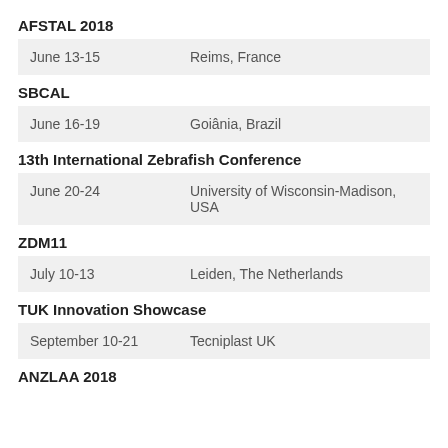AFSTAL 2018
| Date | Location |
| --- | --- |
| June 13-15 | Reims, France |
SBCAL
| Date | Location |
| --- | --- |
| June 16-19 | Goiânia, Brazil |
13th International Zebrafish Conference
| Date | Location |
| --- | --- |
| June 20-24 | University of Wisconsin-Madison, USA |
ZDM11
| Date | Location |
| --- | --- |
| July 10-13 | Leiden, The Netherlands |
TUK Innovation Showcase
| Date | Location |
| --- | --- |
| September 10-21 | Tecniplast UK |
ANZLAA 2018